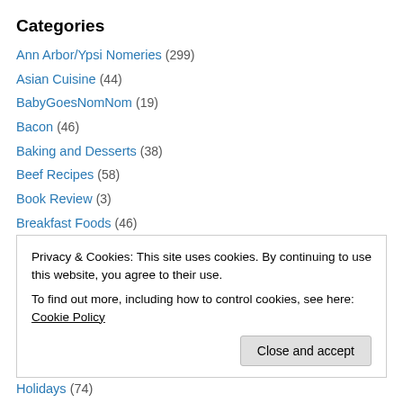Categories
Ann Arbor/Ypsi Nomeries (299)
Asian Cuisine (44)
BabyGoesNomNom (19)
Bacon (46)
Baking and Desserts (38)
Beef Recipes (58)
Book Review (3)
Breakfast Foods (46)
Chicken and Turkey Recipes (121)
Cocktails and Beverages (67)
Counting Calories (7)
CSA Boxes (12)
Privacy & Cookies: This site uses cookies. By continuing to use this website, you agree to their use. To find out more, including how to control cookies, see here: Cookie Policy
Holidays (74)